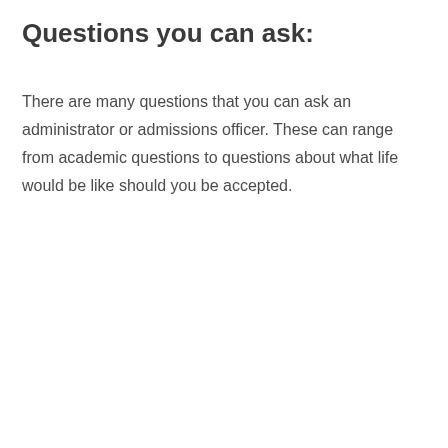Questions you can ask:
There are many questions that you can ask an administrator or admissions officer. These can range from academic questions to questions about what life would be like should you be accepted.